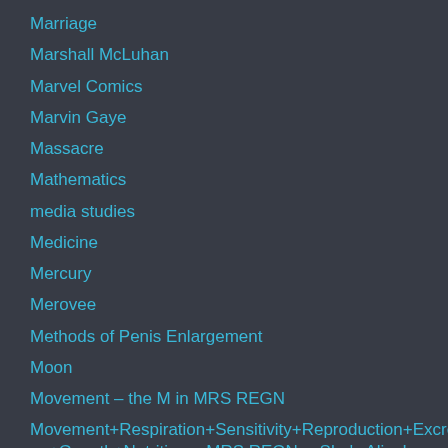Marriage
Marshall McLuhan
Marvel Comics
Marvin Gaye
Massacre
Mathematics
media studies
Medicine
Mercury
Merovee
Methods of Penis Enlargement
Moon
Movement – the M in MRS REGN
Movement+Respiration+Sensitivity+Reproduction+Excretion+Growth+Nutrition = MRS REGN… She's Alive!
Mum's Funeral
Munich
Music